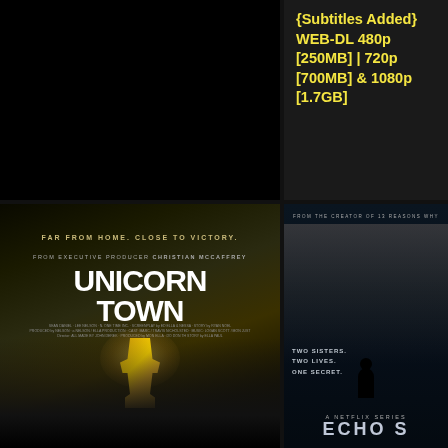[Figure (other): Black background top-left area]
{Subtitles Added} WEB-DL 480p [250MB] | 720p [700MB] & 1080p [1.7GB]
[Figure (photo): Unicorn Town movie poster - Far From Home. Close To Victory. From Executive Producer Christian McCaffrey. Shows players celebrating with trophy and fireworks.]
[Figure (photo): Echoes Netflix series poster - From the creator of 13 Reasons Why. Two sisters, two lives, one secret. A Netflix Series. Shows two women back to back and a silhouette.]